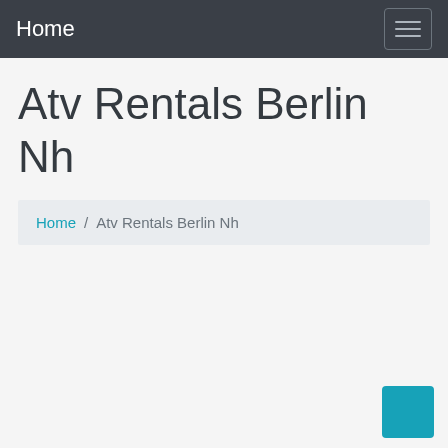Home
Atv Rentals Berlin Nh
Home / Atv Rentals Berlin Nh